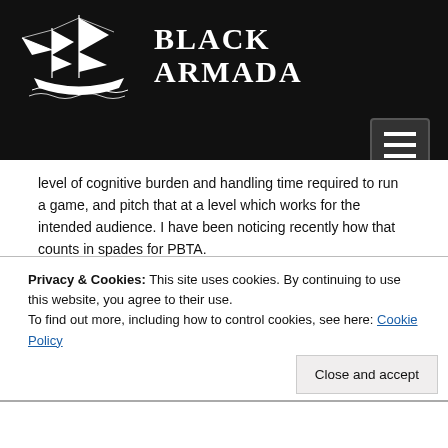[Figure (logo): Black Armada logo with a sailing ship illustration in white on black background, with the text BLACK ARMADA in bold serif font]
level of cognitive burden and handling time required to run a game, and pitch that at a level which works for the intended audience. I have been noticing recently how that counts in spades for PBTA.

The player-facing side of most PBTA games consists of a series of Moves, each of which has some sort of
Privacy & Cookies: This site uses cookies. By continuing to use this website, you agree to their use.
To find out more, including how to control cookies, see here: Cookie Policy
Close and accept